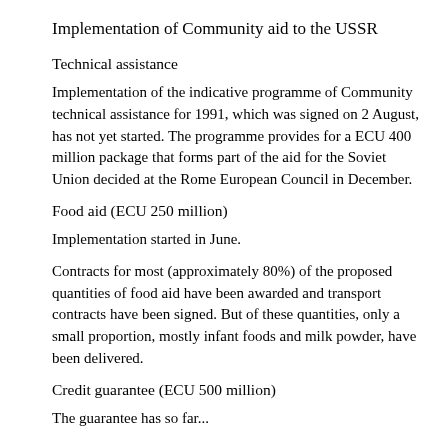Implementation of Community aid to the USSR
Technical assistance
Implementation of the indicative programme of Community technical assistance for 1991, which was signed on 2 August, has not yet started. The programme provides for a ECU 400 million package that forms part of the aid for the Soviet Union decided at the Rome European Council in December.
Food aid (ECU 250 million)
Implementation started in June.
Contracts for most (approximately 80%) of the proposed quantities of food aid have been awarded and transport contracts have been signed. But of these quantities, only a small proportion, mostly infant foods and milk powder, have been delivered.
Credit guarantee (ECU 500 million)
The guarantee has so far...